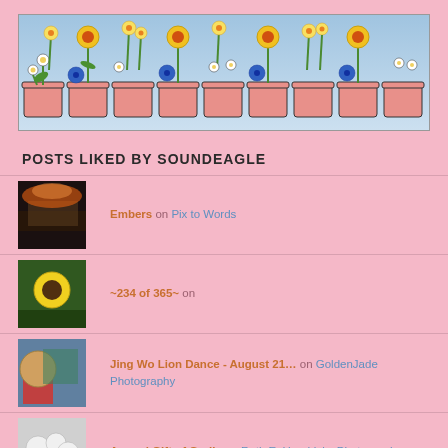[Figure (illustration): Banner image of flower pots with sunflowers, daisies, pansies, and daffodils in pink terracotta pots against a light blue sky background]
POSTS LIKED BY SOUNDEAGLE
Embers on Pix to Words
~234 of 365~ on
Jing Wo Lion Dance - August 21… on GoldenJade Photography
Annual Gift of Garlic on Ruth E. Hendricks Photography
Siren's Call on The Mind of Nox